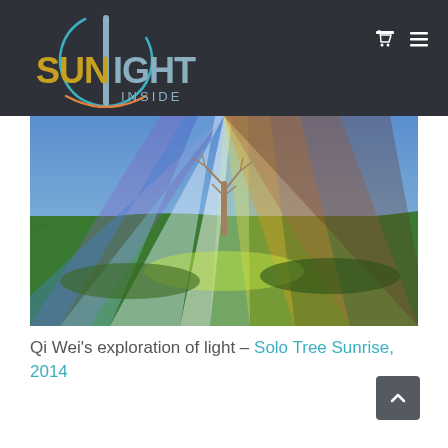[Figure (logo): Sunlight Inside logo: circular arc with vertical bar forming stylized sun/letter I, text 'SUNLIGHT INSIDE' in gold and grey on dark background]
[Figure (photo): Aerial photo of green rolling fields with a lone bare tree in the center, overlaid with diagonal rainbow-colored light rays (violet, blue, white, green, yellow, orange, brown) spreading across the landscape]
Qi Wei's exploration of light – Solo Tree Sunrise, 2014
[Figure (other): Back-to-top button: dark grey rounded square with white upward chevron arrow]